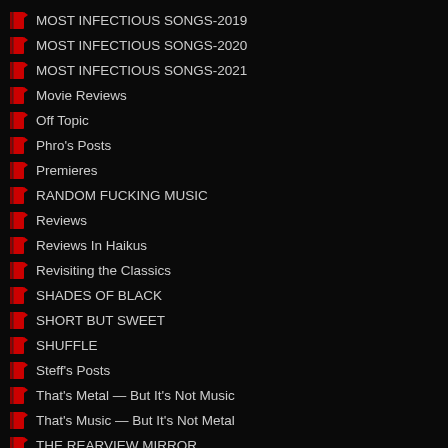MOST INFECTIOUS SONGS-2019
MOST INFECTIOUS SONGS-2020
MOST INFECTIOUS SONGS-2021
Movie Reviews
Off Topic
Phro's Posts
Premieres
RANDOM FUCKING MUSIC
Reviews
Reviews In Haikus
Revisiting the Classics
SHADES OF BLACK
SHORT BUT SWEET
SHUFFLE
Steff's Posts
That's Metal — But It's Not Music
That's Music — But It's Not Metal
THE REARVIEW MIRROR
THE SYNN REPORT
Uncategorized